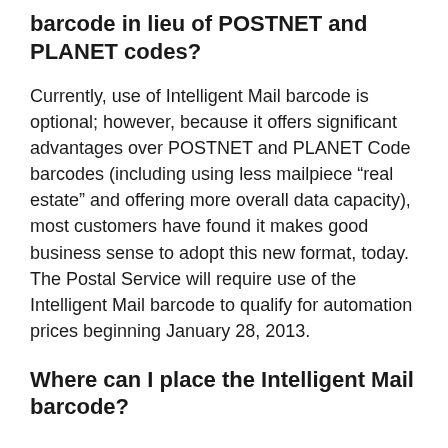barcode in lieu of POSTNET and PLANET codes?
Currently, use of Intelligent Mail barcode is optional; however, because it offers significant advantages over POSTNET and PLANET Code barcodes (including using less mailpiece “real estate” and offering more overall data capacity), most customers have found it makes good business sense to adopt this new format, today. The Postal Service will require use of the Intelligent Mail barcode to qualify for automation prices beginning January 28, 2013.
Where can I place the Intelligent Mail barcode?